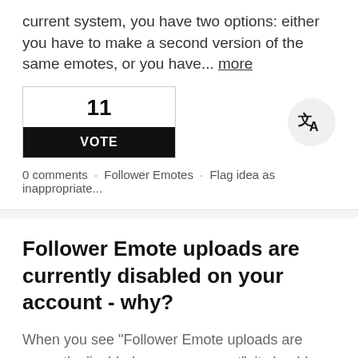current system, you have two options: either you have to make a second version of the same emotes, or you have... more
11
VOTE
0 comments · Follower Emotes · Flag idea as inappropriate...
Follower Emote uploads are currently disabled on your account - why?
When you see "Follower Emote uploads are currently disabled on your account", it should say why. It is a worrisome message and it says to learn why, click here, but if it's as simple as "you've only streamed 59/60 times" or something, it would be great if it just said the reason.